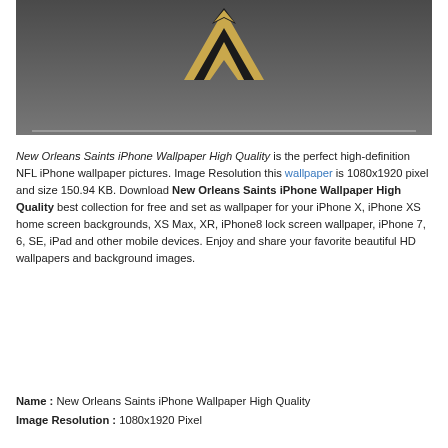[Figure (photo): Dark gray background with a New Orleans Saints fleur-de-lis logo in black and gold at the top center]
New Orleans Saints iPhone Wallpaper High Quality is the perfect high-definition NFL iPhone wallpaper pictures. Image Resolution this wallpaper is 1080x1920 pixel and size 150.94 KB. Download New Orleans Saints iPhone Wallpaper High Quality best collection for free and set as wallpaper for your iPhone X, iPhone XS home screen backgrounds, XS Max, XR, iPhone8 lock screen wallpaper, iPhone 7, 6, SE, iPad and other mobile devices. Enjoy and share your favorite beautiful HD wallpapers and background images.
Name : New Orleans Saints iPhone Wallpaper High Quality
Image Resolution : 1080x1920 Pixel